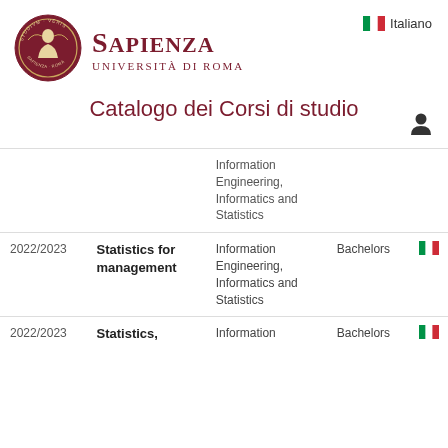[Figure (logo): Sapienza Università di Roma circular seal/emblem in dark red with a figure and Latin text STUDIVM VERIS]
SAPIENZA
UNIVERSITÀ DI ROMA
Italiano
Catalogo dei Corsi di studio
[Figure (other): User/person icon (silhouette)]
|  | Course | Faculty | Degree |  |
| --- | --- | --- | --- | --- |
|  |  | Information Engineering, Informatics and Statistics |  |  |
| 2022/2023 | Statistics for management | Information Engineering, Informatics and Statistics | Bachelors | 🇮🇹 |
| 2022/2023 | Statistics, | Information | Bachelors | 🇮🇹 |